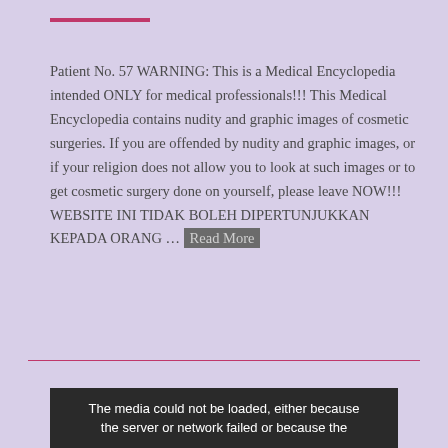Patient No. 57 WARNING: This is a Medical Encyclopedia intended ONLY for medical professionals!!! This Medical Encyclopedia contains nudity and graphic images of cosmetic surgeries. If you are offended by nudity and graphic images, or if your religion does not allow you to look at such images or to get cosmetic surgery done on yourself, please leave NOW!!! WEBSITE INI TIDAK BOLEH DIPERTUNJUKKAN KEPADA ORANG … Read More
[Figure (other): Media player error message on dark background: 'The media could not be loaded, either because the server or network failed or because the']